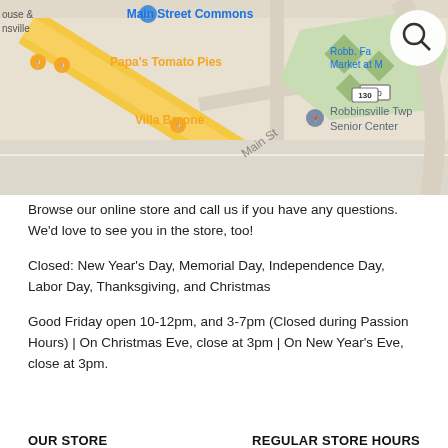[Figure (map): Google Maps screenshot showing Main Street Commons, Papa's Tomato Pies, Villa Barone, Robbinsville Twp Senior Center, and surrounding roads including routes 526 and 130. A search icon is visible in the top right.]
Browse our online store and call us if you have any questions. We'd love to see you in the store, too!
Closed: New Year's Day, Memorial Day, Independence Day, Labor Day, Thanksgiving, and Christmas
Good Friday open 10-12pm, and 3-7pm (Closed during Passion Hours) | On Christmas Eve, close at 3pm | On New Year's Eve, close at 3pm.
OUR STORE
REGULAR STORE HOURS